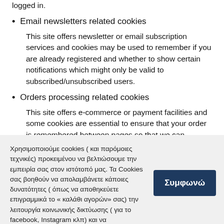logged in.
Email newsletters related cookies
This site offers newsletter or email subscription services and cookies may be used to remember if you are already registered and whether to show certain notifications which might only be valid to subscribed/unsubscribed users.
Orders processing related cookies
This site offers e-commerce or payment facilities and some cookies are essential to ensure that your order is remembered between pages so that we can process it properly.
Χρησιμοποιούμε cookies ( και παρόμοιες τεχνικές) προκειμένου να βελτιώσουμε την εμπειρία σας στον ιστότοπό μας. Τα Cookies σας βοηθούν να απολαμβάνετε κάποιες δυνατότητες ( όπως να αποθηκεύετε επιγραμμικά το « καλάθι αγορών» σας) την λειτουργία κοινωνικής δικτύωσης ( για το facebook, Instagram κλπ) και να διαμορφώνονται τα μηνύματα και να εμφανίζονται οι διαφημίσεις